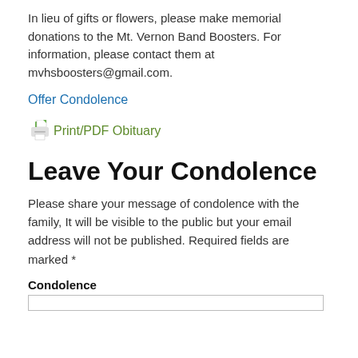In lieu of gifts or flowers, please make memorial donations to the Mt. Vernon Band Boosters. For information, please contact them at mvhsboosters@gmail.com.
Offer Condolence
[Figure (other): Printer icon with green paper tray]
Print/PDF Obituary
Leave Your Condolence
Please share your message of condolence with the family, It will be visible to the public but your email address will not be published. Required fields are marked *
Condolence
[Figure (other): Empty text input box for condolence message]